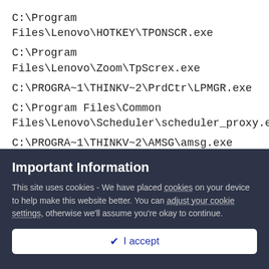C:\Program Files\Lenovo\HOTKEY\TPONSCR.exe
C:\Program Files\Lenovo\Zoom\TpScrex.exe
C:\PROGRA~1\THINKV~2\PrdCtr\LPMGR.exe
C:\Program Files\Common Files\Lenovo\Scheduler\scheduler_proxy.exe
C:\PROGRA~1\THINKV~2\AMSG\amsg.exe
C:\WINDOWS\System32\DLA\DLACTRLW.EXE
C:\Program Files\Common Files\InstallShield\UpdateService\issch.exe
Important Information
This site uses cookies - We have placed cookies on your device to help make this website better. You can adjust your cookie settings, otherwise we'll assume you're okay to continue.
✔  I accept